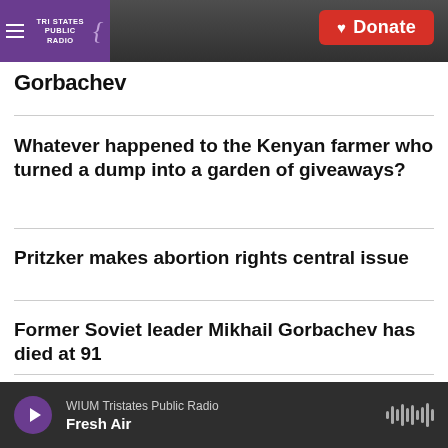Tri States Public Radio — Donate
Gorbachev
Whatever happened to the Kenyan farmer who turned a dump into a garden of giveaways?
Pritzker makes abortion rights central issue
Former Soviet leader Mikhail Gorbachev has died at 91
WIUM Tristates Public Radio — Fresh Air